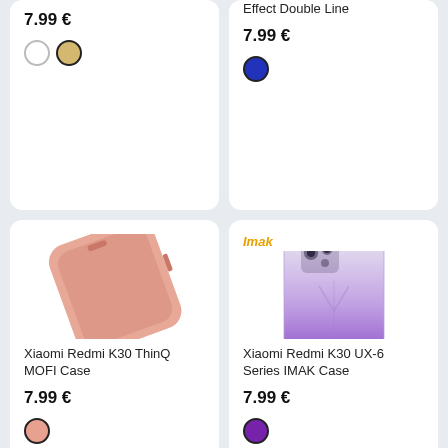[Figure (photo): Partial product card top-left: price 7.99 € with white and gold color swatches]
7.99 €
[Figure (photo): Partial product card top-right: Leather Case Lychee Effect Double Line, price 7.99 €, blue swatch]
Effect Double Line
7.99 €
[Figure (photo): Xiaomi Redmi K30 ThinQ MOFI Case - pink phone case product image]
Xiaomi Redmi K30 ThinQ MOFI Case
7.99 €
[Figure (photo): Xiaomi Redmi K30 UX-6 Series IMAK Case - clear/purple gradient phone case product image with Imak branding]
Xiaomi Redmi K30 UX-6 Series IMAK Case
7.99 €